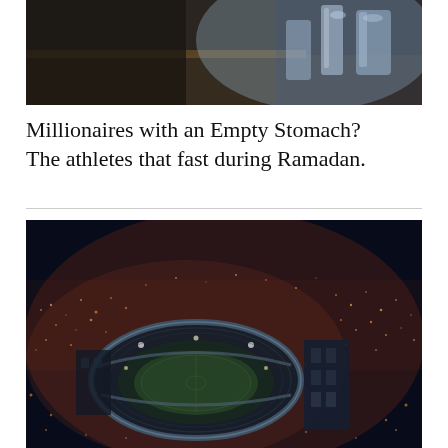[Figure (photo): Close-up photo of glassware and water glasses on a table with dark blurred background]
Millionaires with an Empty Stomach? The athletes that fast during Ramadan.
[Figure (photo): Aerial night-time photograph of a large football stadium illuminated with lights, surrounded by a city lit up at night]